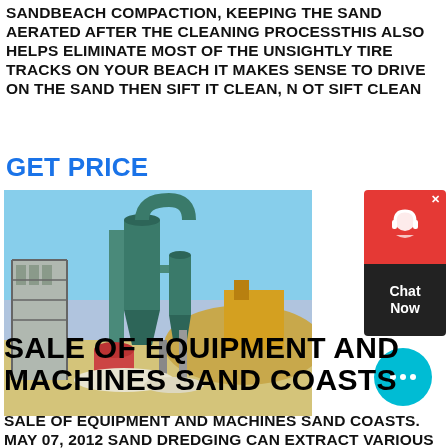SANDBEACH COMPACTION, KEEPING THE SAND AERATED AFTER THE CLEANING PROCESSTHIS ALSO HELPS ELIMINATE MOST OF THE UNSIGHTLY TIRE TRACKS ON YOUR BEACH IT MAKES SENSE TO DRIVE ON THE SAND THEN SIFT IT CLEAN, N OT SIFT CLEAN
GET PRICE
[Figure (photo): Industrial sand processing machine / cyclone separator equipment at an outdoor industrial site]
[Figure (other): Chat widget with headset icon, close button, and Chat Now label]
[Figure (other): Cyan/blue circular chat bubble icon with ellipsis]
SALE OF EQUIPMENT AND MACHINES SAND COASTS
SALE OF EQUIPMENT AND MACHINES SAND COASTS. MAY 07, 2012 SAND DREDGING CAN EXTRACT VARIOUS